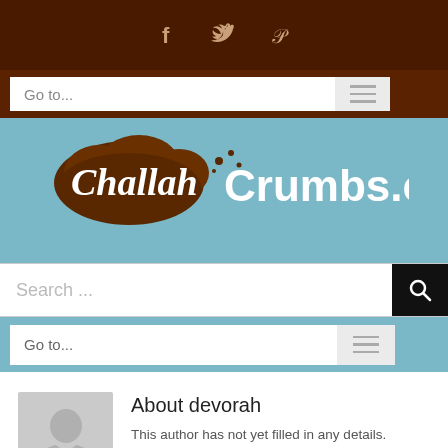[Figure (logo): Social media icons: Facebook (f), Twitter bird, Pinterest (p) on dark brown background]
[Figure (other): Navigation dropdown showing 'Go to...' text with hamburger menu icon]
[Figure (logo): ChallahCrumbs.com website logo on light blue/teal background]
[Figure (other): Search bar with placeholder 'Search ...' and search button]
[Figure (other): Second navigation dropdown showing 'Go to...' text with hamburger menu icon]
[Figure (other): Avatar placeholder image showing silhouette person icon in grey box]
About devorah
This author has not yet filled in any details. So far devorah has created 1005 blog entries.